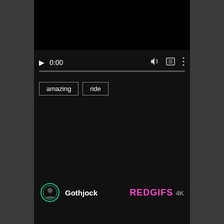[Figure (screenshot): Video player controls bar showing play button, timestamp 0:00, speaker icon, fullscreen icon, and three-dot menu icon on dark background]
amazing
ride
Gothjock
REDGIFS 4K